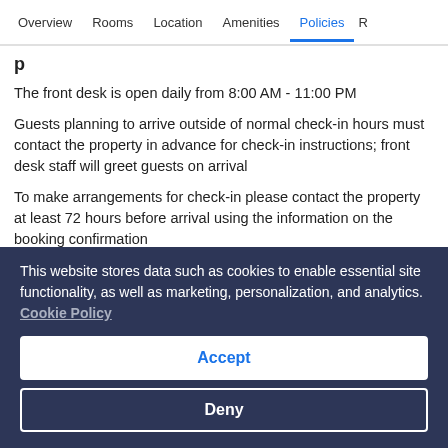Overview | Rooms | Location | Amenities | Policies | R
The front desk is open daily from 8:00 AM - 11:00 PM
Guests planning to arrive outside of normal check-in hours must contact the property in advance for check-in instructions; front desk staff will greet guests on arrival
To make arrangements for check-in please contact the property at least 72 hours before arrival using the information on the booking confirmation
For more details, please contact the property using the information on the booking confirmation
This website stores data such as cookies to enable essential site functionality, as well as marketing, personalization, and analytics. Cookie Policy
Accept
Deny